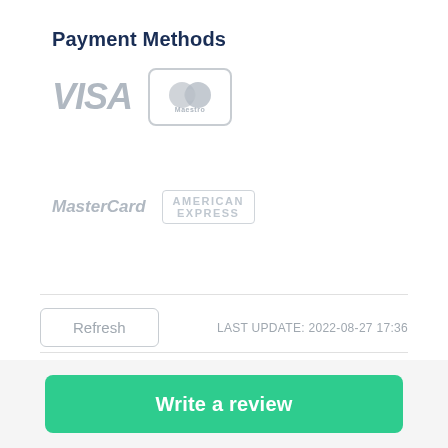Payment Methods
[Figure (logo): Payment method logos: VISA, Maestro, MasterCard, American Express shown in grey]
Refresh   LAST UPDATE: 2022-08-27 17:36
Write a review